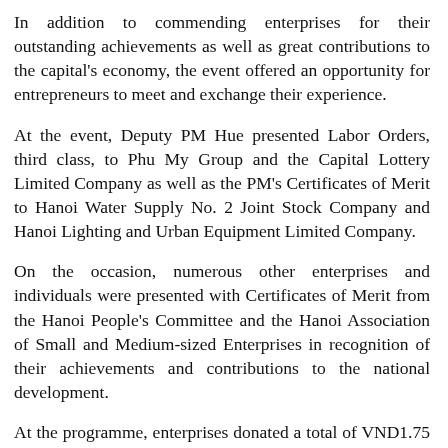In addition to commending enterprises for their outstanding achievements as well as great contributions to the capital's economy, the event offered an opportunity for entrepreneurs to meet and exchange their experience.
At the event, Deputy PM Hue presented Labor Orders, third class, to Phu My Group and the Capital Lottery Limited Company as well as the PM's Certificates of Merit to Hanoi Water Supply No. 2 Joint Stock Company and Hanoi Lighting and Urban Equipment Limited Company.
On the occasion, numerous other enterprises and individuals were presented with Certificates of Merit from the Hanoi People's Committee and the Hanoi Association of Small and Medium-sized Enterprises in recognition of their achievements and contributions to the national development.
At the programme, enterprises donated a total of VND1.75 billion (around US$76,842) to the ‘Fund for the Poor’ launched by the Hanoi municipal Fatherland Front Committee.